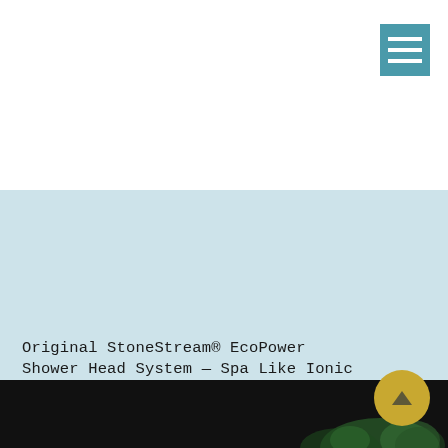[Figure (other): Hamburger menu icon — teal/blue-green square with three white horizontal lines]
Original StoneStream® EcoPower Shower Head System — Spa Like Ionic Filter to Soften & Save Water — Universal Hard Water Filter for All Types of Showers — Matte Black
[Figure (photo): Bottom portion of product page image — dark/black background with partial product imagery visible at bottom edge]